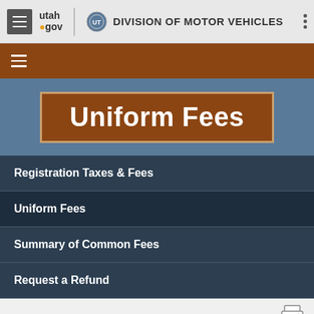utah.gov | DIVISION OF MOTOR VEHICLES
Uniform Fees
Registration Taxes & Fees
Uniform Fees
Summary of Common Fees
Request a Refund
Types of Fees
Uniform Age-based Fee Tables